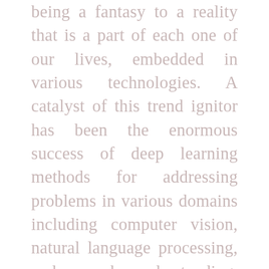being a fantasy to a reality that is a part of each one of our lives, embedded in various technologies. A catalyst of this trend ignitor has been the enormous success of deep learning methods for addressing problems in various domains including computer vision, natural language processing, and speech understanding. However, as AI makes its way into more sensitive and consequential applications such as healthcare, autonomous, and finance, the expectation AI models to not only make predictions but also be able to explain their predictions. This takes AI models a step or advance to the increasingly critical area of explainable AI (XAI). This area combines and